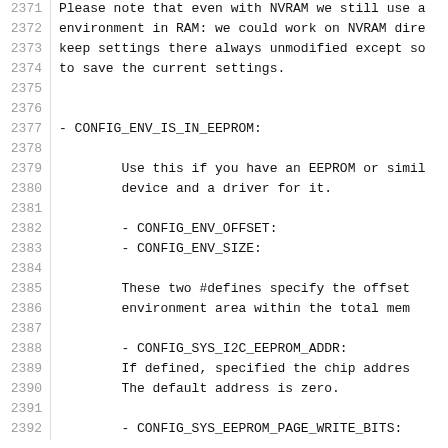Lines 2371-2392 of source code showing NVRAM/EEPROM environment configuration documentation
2371: Please note that even with NVRAM we still use a
2372: environment in RAM: we could work on NVRAM dire
2373: keep settings there always unmodified except so
2374: to save the current settings.
2375: (blank)
2376: (blank)
2377: - CONFIG_ENV_IS_IN_EEPROM:
2378: (blank)
2379: Use this if you have an EEPROM or simil
2380: device and a driver for it.
2381: (blank)
2382: - CONFIG_ENV_OFFSET:
2383: - CONFIG_ENV_SIZE:
2384: (blank)
2385: These two #defines specify the offset
2386: environment area within the total mem
2387: (blank)
2388: - CONFIG_SYS_I2C_EEPROM_ADDR:
2389: If defined, specified the chip addres
2390: The default address is zero.
2391: (blank)
2392: - CONFIG_SYS_EEPROM_PAGE_WRITE_BITS: